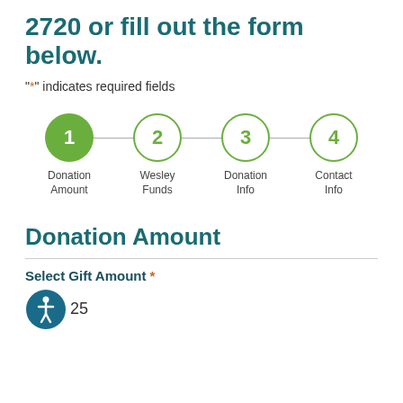2720 or fill out the form below.
"*" indicates required fields
[Figure (infographic): A 4-step progress indicator with circles connected by lines. Step 1 (Donation Amount) is active/filled green. Steps 2 (Wesley Funds), 3 (Donation Info), and 4 (Contact Info) are outlined in green.]
Donation Amount
Select Gift Amount *
25